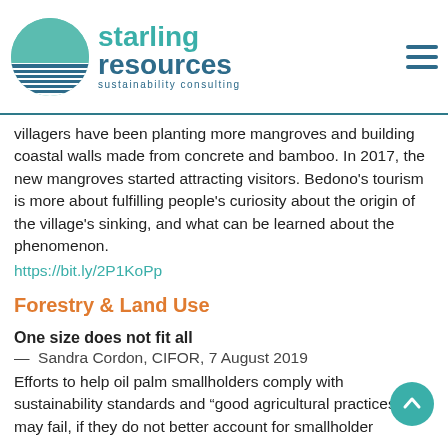Starling Resources – sustainability consulting
villagers have been planting more mangroves and building coastal walls made from concrete and bamboo. In 2017, the new mangroves started attracting visitors. Bedono's tourism is more about fulfilling people's curiosity about the origin of the village's sinking, and what can be learned about the phenomenon.
https://bit.ly/2P1KoPp
Forestry & Land Use
One size does not fit all
—  Sandra Cordon, CIFOR, 7 August 2019
Efforts to help oil palm smallholders comply with sustainability standards and "good agricultural practices" may fail, if they do not better account for smallholder